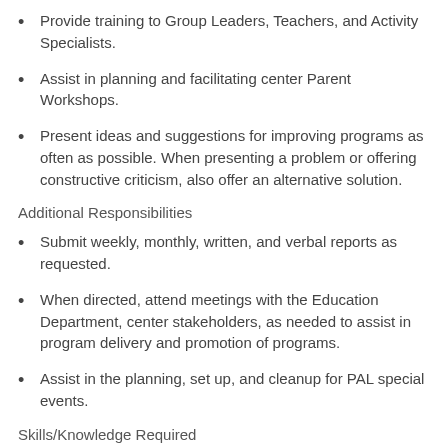Provide training to Group Leaders, Teachers, and Activity Specialists.
Assist in planning and facilitating center Parent Workshops.
Present ideas and suggestions for improving programs as often as possible. When presenting a problem or offering constructive criticism, also offer an alternative solution.
Additional Responsibilities
Submit weekly, monthly, written, and verbal reports as requested.
When directed, attend meetings with the Education Department, center stakeholders, as needed to assist in program delivery and promotion of programs.
Assist in the planning, set up, and cleanup for PAL special events.
Skills/Knowledge Required
A minimum of a Bachelor’s Degree in Education or a related field. NYS Teaching Certification preferred. Master’s Degree in Education or related field strongly preferred.
At least 2 years of experience in curriculum development and